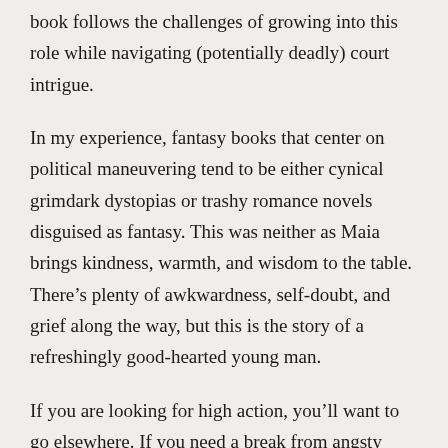book follows the challenges of growing into this role while navigating (potentially deadly) court intrigue.
In my experience, fantasy books that center on political maneuvering tend to be either cynical grimdark dystopias or trashy romance novels disguised as fantasy. This was neither as Maia brings kindness, warmth, and wisdom to the table. There’s plenty of awkwardness, self-doubt, and grief along the way, but this is the story of a refreshingly good-hearted young man.
If you are looking for high action, you’ll want to go elsewhere. If you need a break from angsty anti-hero fantasy this book is a breath of fresh air.